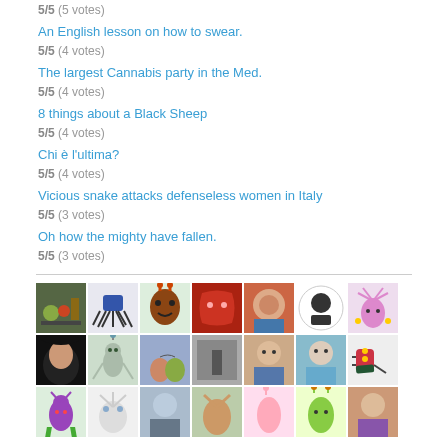5/5 (5 votes)
An English lesson on how to swear.
5/5 (4 votes)
The largest Cannabis party in the Med.
5/5 (4 votes)
8 things about a Black Sheep
5/5 (4 votes)
Chi è l'ultima?
5/5 (4 votes)
Vicious snake attacks defenseless women in Italy
5/5 (3 votes)
Oh how the mighty have fallen.
5/5 (3 votes)
[Figure (photo): Grid of user avatar thumbnails arranged in rows, showing cartoon characters, real people photos, and illustrated creatures]